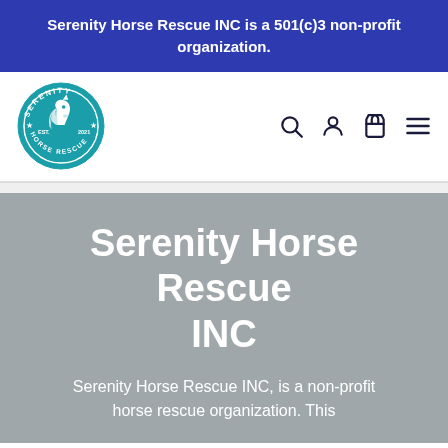Serenity Horse Rescue INC is a 501(c)3 non-profit organization.
[Figure (logo): Serenity Horse Rescue circular logo in teal color, featuring a horse head in the center, text reading SERENITY around the top, HORSE RESCUE around the bottom, EST. 2021 on the sides, and stars on left and right]
Serenity Horse Rescue INC
Serenity Horse Rescue INC, is a non-profit horse rescue organization. This